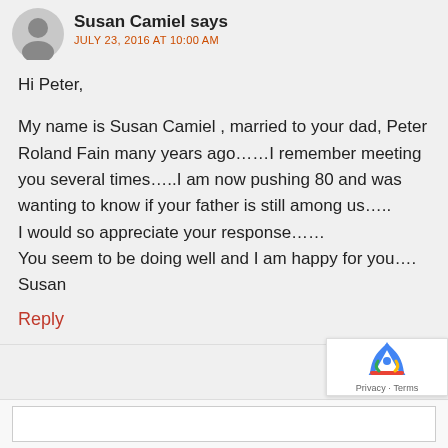Susan Camiel says
JULY 23, 2016 AT 10:00 AM
Hi Peter,

My name is Susan Camiel , married to your dad, Peter Roland Fain many years ago……I remember meeting you several times…..I am now pushing 80 and was wanting to know if your father is still among us…..
I would so appreciate your response……
You seem to be doing well and I am happy for you….
Susan
Reply